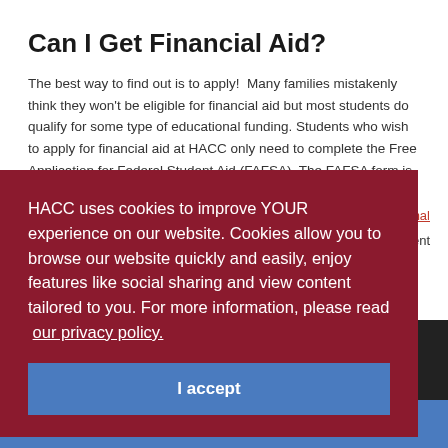Can I Get Financial Aid?
The best way to find out is to apply!  Many families mistakenly think they won't be eligible for financial aid but most students do qualify for some type of educational funding. Students who wish to apply for financial aid at HACC only need to complete the Free Application for Federal Student Aid (FAFSA). The FAFSA form is free, so there's no
HACC uses cookies to improve YOUR experience on our website. Cookies allow you to browse our website quickly and easily, enjoy features like social sharing and view content tailored to you. For more information, please read our privacy policy.
I accept